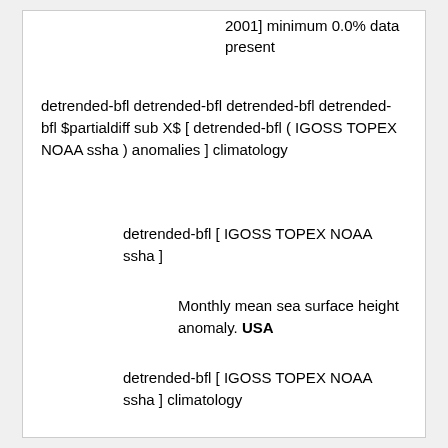2001] minimum 0.0% data present
detrended-bfl detrended-bfl detrended-bfl detrended-bfl $partialdiff sub X$ [ detrended-bfl ( IGOSS TOPEX NOAA ssha ) anomalies ] climatology
detrended-bfl [ IGOSS TOPEX NOAA ssha ]
Monthly mean sea surface height anomaly. USA
detrended-bfl [ IGOSS TOPEX NOAA ssha ] climatology
detrended-bfl [ IGOSS TOPEX NOAA ssha ]
Monthly mean sea surface height anomaly. USA